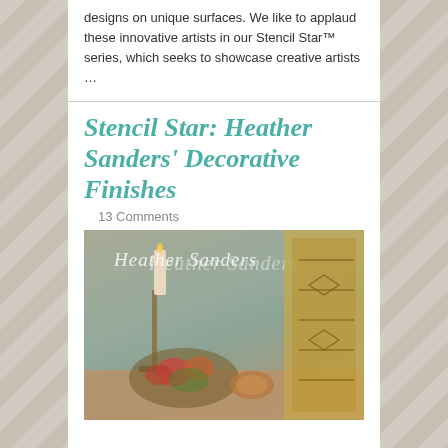designs on unique surfaces. We like to applaud these innovative artists in our Stencil Star™ series, which seeks to showcase creative artists …
Stencil Star: Heather Sanders' Decorative Finishes
13 Comments
[Figure (photo): A decorative photo showing a styled vignette with candles, autumn floral arrangement, a copper plate, and an ornate stenciled panel on the right. The text 'Heather Sanders' is overlaid in white script.]